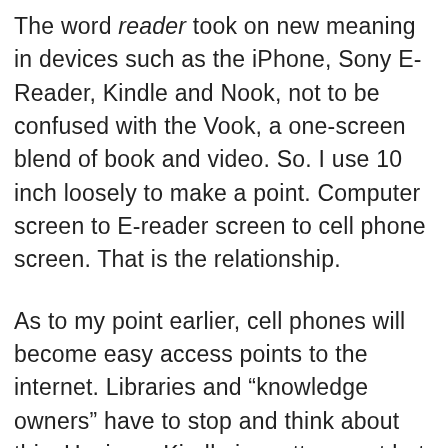The word reader took on new meaning in devices such as the iPhone, Sony E-Reader, Kindle and Nook, not to be confused with the Vook, a one-screen blend of book and video. So. I use 10 inch loosely to make a point. Computer screen to E-reader screen to cell phone screen. That is the relationship.
As to my point earlier, cell phones will become easy access points to the internet. Libraries and “knowledge owners” have to stop and think about this. Having a Kindle is pretty sweet but